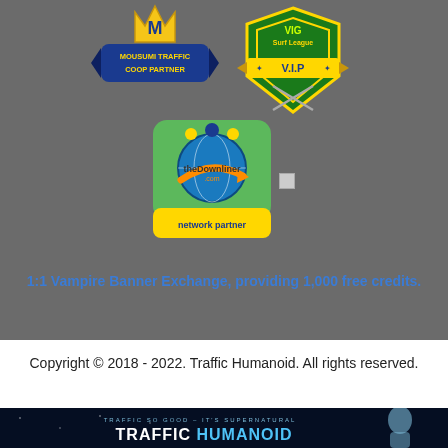[Figure (logo): Mousumi Traffic Coop Partner badge - gold M trophy with blue ribbon and text MOUSUMI TRAFFIC COOP PARTNER]
[Figure (logo): VIG Surf League V.I.P badge - green shield with gold V.I.P text and crossed swords]
[Figure (logo): theDownliner.com network partner badge - globe with orange arrow, people icons, green background with yellow network partner text]
[Figure (logo): Small broken/loading image placeholder]
1:1 Vampire Banner Exchange, providing 1,000 free credits.
Copyright © 2018 - 2022. Traffic Humanoid. All rights reserved.
[Figure (logo): Traffic Humanoid footer banner - dark blue background with text TRAFFIC SO GOOD - IT'S SUPERNATURAL and TRAFFIC HUMANOID with female figure on right]